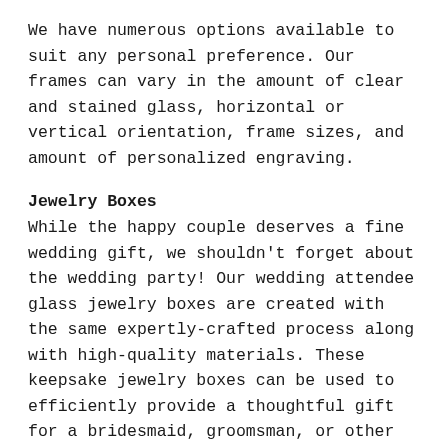We have numerous options available to suit any personal preference. Our frames can vary in the amount of clear and stained glass, horizontal or vertical orientation, frame sizes, and amount of personalized engraving.
Jewelry Boxes
While the happy couple deserves a fine wedding gift, we shouldn't forget about the wedding party! Our wedding attendee glass jewelry boxes are created with the same expertly-crafted process along with high-quality materials. These keepsake jewelry boxes can be used to efficiently provide a thoughtful gift for a bridesmaid, groomsman, or other wedding members.
They all come in various colors but all are capable of laser-engraved lettering on top for that personalized touch. Their decorative feet will keep them properly lifted while elegantly complementing their overall